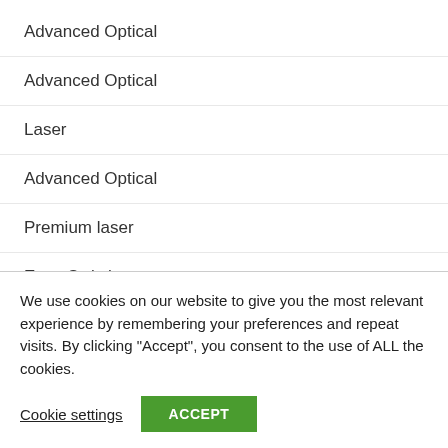Advanced Optical
Advanced Optical
Laser
Advanced Optical
Premium laser
Easy-Switch
N/A
We use cookies on our website to give you the most relevant experience by remembering your preferences and repeat visits. By clicking “Accept”, you consent to the use of ALL the cookies.
Cookie settings
ACCEPT